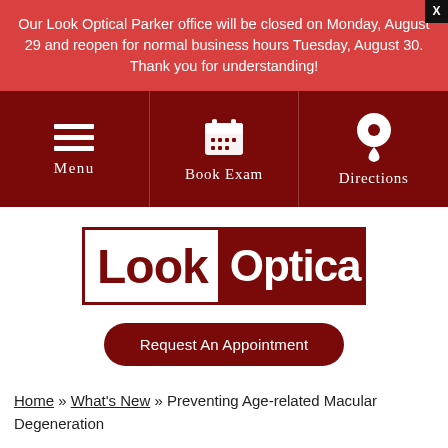Our Look Optical Parker office will be closed on Monday, August 29 and reopen for normal business hours Tuesday, August 30. Thank you for understanding!
[Figure (infographic): Navigation bar with three items: Menu (hamburger icon), Book Exam (calendar icon), Directions (map pin icon), on dark red background]
[Figure (logo): Look Optical logo: 'Look' in dark red on white, 'Optical' in white on dark red, inside a dark red border box]
Request An Appointment
Home » What's New » Preventing Age-related Macular Degeneration